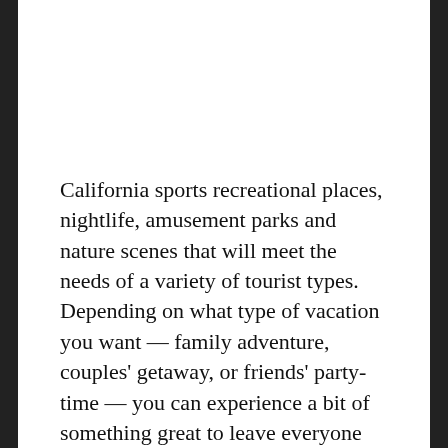California sports recreational places, nightlife, amusement parks and nature scenes that will meet the needs of a variety of tourist types. Depending on what type of vacation you want — family adventure, couples' getaway, or friends' party-time — you can experience a bit of something great to leave everyone happy during the time spent there.
Sightseeing Tours
On arriving at California, you may want to just tour the city to see those famous sites that people